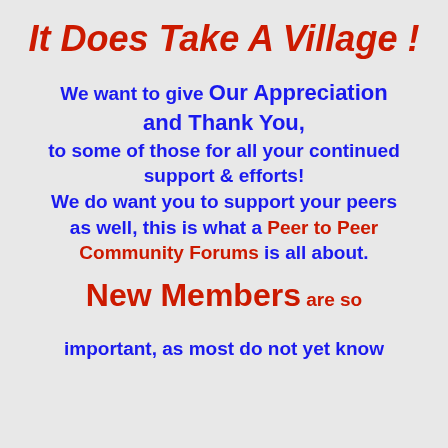It Does Take A Village !
We want to give Our Appreciation and Thank You, to some of those for all your continued support  & efforts! We do want you to  support your peers as well, this is what a Peer to Peer Community Forums is all about.
New Members are so important, as most do not yet know